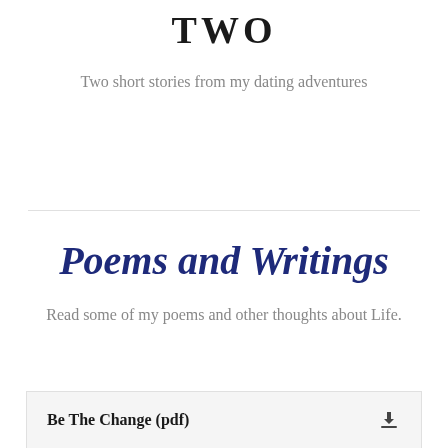TWO
Two short stories from my dating adventures
Poems and Writings
Read some of my poems and other thoughts about Life.
Be The Change (pdf)